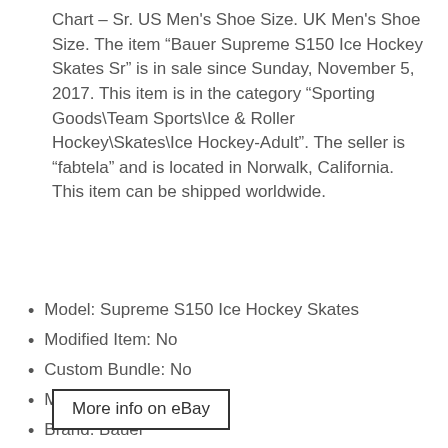Chart – Sr. US Men's Shoe Size. UK Men's Shoe Size. The item “Bauer Supreme S150 Ice Hockey Skates Sr” is in sale since Sunday, November 5, 2017. This item is in the category “Sporting Goods\Team Sports\Ice & Roller Hockey\Skates\Ice Hockey-Adult”. The seller is “fabtela” and is located in Norwalk, California. This item can be shipped worldwide.
Model: Supreme S150 Ice Hockey Skates
Modified Item: No
Custom Bundle: No
MPN: Does Not Apply
Brand: Bauer
Non-Domestic Product: No
More info on eBay